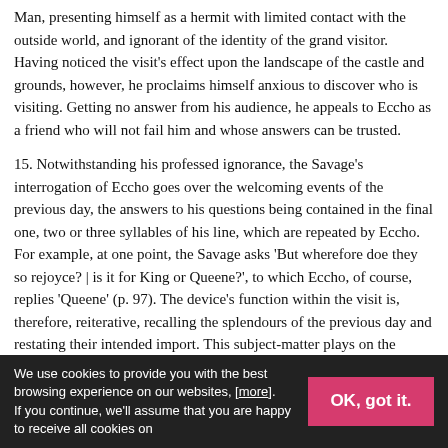Man, presenting himself as a hermit with limited contact with the outside world, and ignorant of the identity of the grand visitor. Having noticed the visit's effect upon the landscape of the castle and grounds, however, he proclaims himself anxious to discover who is visiting. Getting no answer from his audience, he appeals to Eccho as a friend who will not fail him and whose answers can be trusted.
15. Notwithstanding his professed ignorance, the Savage's interrogation of Eccho goes over the welcoming events of the previous day, the answers to his questions being contained in the final one, two or three syllables of his line, which are repeated by Eccho. For example, at one point, the Savage asks 'But wherefore doe they so rejoyce? | is it for King or Queene?', to which Eccho, of course, replies 'Queene' (p. 97). The device's function within the visit is, therefore, reiterative, recalling the splendours of the previous day and restating their intended import. This subject-matter plays on the nature of echo, of course, but it also draws attention to the echo-device's own status as a display which contains certain encrypted messages for observers to decipher. Its decoding of the meaning of the previous day's events offers its
We use cookies to provide you with the best browsing experience on our websites, [more]. If you continue, we'll assume that you are happy to receive all cookies on